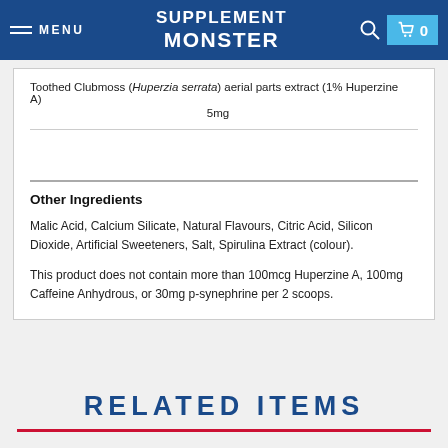SUPPLEMENT MONSTER | MENU | Cart
Toothed Clubmoss (Huperzia serrata) aerial parts extract (1% Huperzine A)
5mg
Other Ingredients
Malic Acid, Calcium Silicate, Natural Flavours, Citric Acid, Silicon Dioxide, Artificial Sweeteners, Salt, Spirulina Extract (colour).
This product does not contain more than 100mcg Huperzine A, 100mg Caffeine Anhydrous, or 30mg p-synephrine per 2 scoops.
RELATED ITEMS